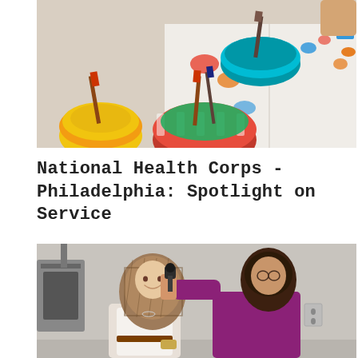[Figure (photo): Art supplies on a table — colorful bowls with paintbrushes and painted paper with handprints in multiple colors.]
National Health Corps - Philadelphia: Spotlight on Service
[Figure (photo): A healthcare worker in a purple shirt examining a smiling patient wearing a patterned hijab in a clinical setting.]